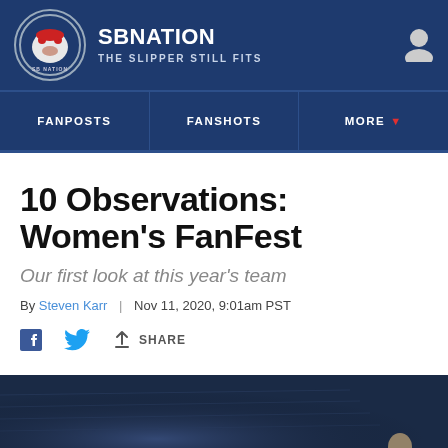SBNATION — THE SLIPPER STILL FITS
FANPOSTS | FANSHOTS | MORE
10 Observations: Women's FanFest
Our first look at this year's team
By Steven Karr | Nov 11, 2020, 9:01am PST
[Figure (photo): Arena interior photo showing court and seating area with blue lighting]